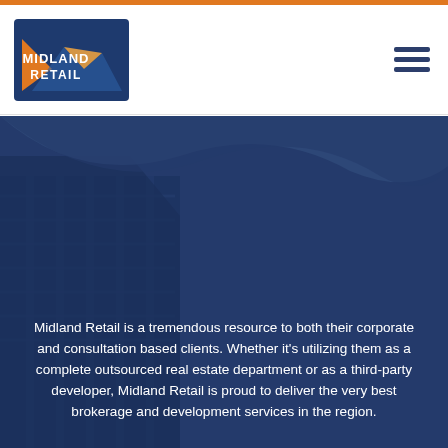[Figure (logo): Midland Retail logo with orange/blue geometric design and white text]
[Figure (photo): Dark blue overlay with building/skyscraper photograph and wave shape at top of section]
Midland Retail is a tremendous resource to both their corporate and consultation based clients. Whether it's utilizing them as a complete outsourced real estate department or as a third-party developer, Midland Retail is proud to deliver the very best brokerage and development services in the region.